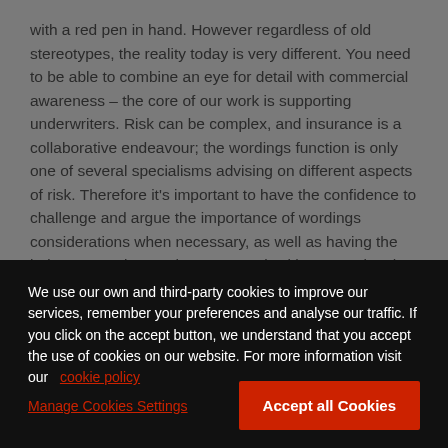with a red pen in hand. However regardless of old stereotypes, the reality today is very different. You need to be able to combine an eye for detail with commercial awareness – the core of our work is supporting underwriters. Risk can be complex, and insurance is a collaborative endeavour; the wordings function is only one of several specialisms advising on different aspects of risk. Therefore it's important to have the confidence to challenge and argue the importance of wordings considerations when necessary, as well as having the judgement to know when to consult with experts in other specialisms in order to
We use our own and third-party cookies to improve our services, remember your preferences and analyse our traffic. If you click on the accept button, we understand that you accept the use of cookies on our website. For more information visit our cookie policy